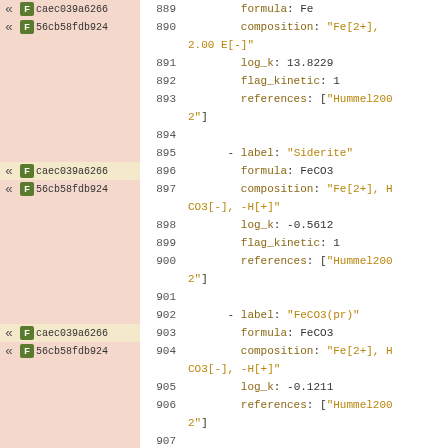[Figure (screenshot): Code diff view showing YAML/config lines 889-908 with two file badges (caec039a6266 and 56cb58fdb924), diff markers (arrows), line numbers, and syntax-highlighted code content defining mineral species: Fe (iron), Siderite (FeCO3), FeCO3(pr), and Hematite, with formula, composition, log_k, flag_kinetic, and references fields.]